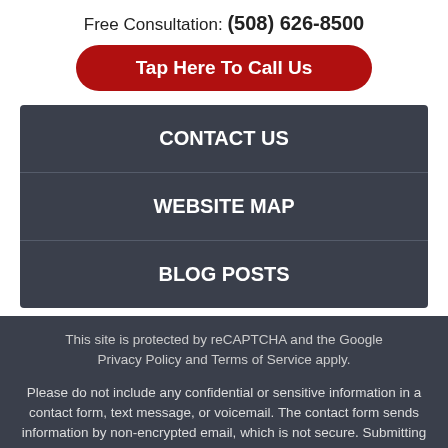Free Consultation: (508) 626-8500
Tap Here To Call Us
CONTACT US
WEBSITE MAP
BLOG POSTS
This site is protected by reCAPTCHA and the Google Privacy Policy and Terms of Service apply.
Please do not include any confidential or sensitive information in a contact form, text message, or voicemail. The contact form sends information by non-encrypted email, which is not secure. Submitting a contact form, sending a text message, making a phone call, or leaving a voicemail does not create an attorney-